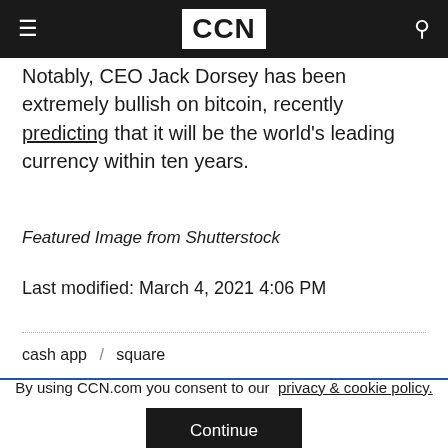CCN
Notably, CEO Jack Dorsey has been extremely bullish on bitcoin, recently predicting that it will be the world's leading currency within ten years.
Featured Image from Shutterstock
Last modified: March 4, 2021 4:06 PM
cash app / square
By using CCN.com you consent to our  privacy & cookie policy.
Continue